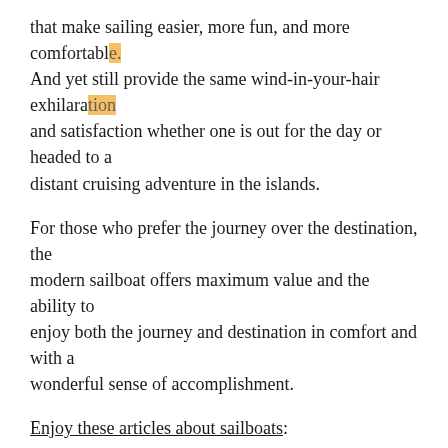that make sailing easier, more fun, and more comfortable. And yet still provide the same wind-in-your-hair exhilaration and satisfaction whether one is out for the day or headed to a distant cruising adventure in the islands.
For those who prefer the journey over the destination, the modern sailboat offers maximum value and the ability to enjoy both the journey and destination in comfort and with a wonderful sense of accomplishment.
Enjoy these articles about sailboats:
Frequently Asked Questions About Sailboats
How Much Does A Sailboat Cost?
Extend Your Sailing Life
How Big Of A Boat Do You Need To Sail Around The World?
What Is The Best Size Sailboat To Live On?
Myth: Heavier Displacement Sailing Hulls Face More Frictional Resistance